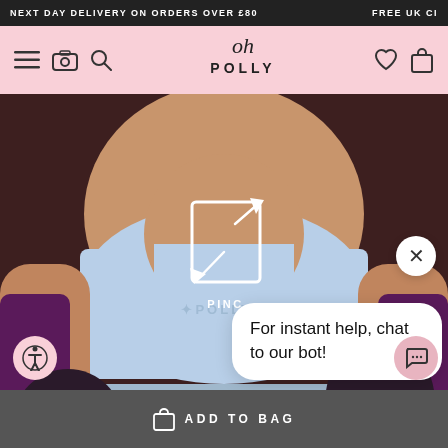NEXT DAY DELIVERY ON ORDERS OVER £80    FREE UK C...
[Figure (logo): Oh Polly logo on pink navigation bar with hamburger menu, camera, search, heart and bag icons]
[Figure (photo): Female model wearing a light blue sports crop top with 'Polly' text, product page of Oh Polly website. Overlaid with expand/zoom icon, pinch label, chat bot bubble saying 'For instant help, chat to our bot!', close button X, accessibility button, and chat button.]
For instant help, chat to our bot!
ADD TO BAG